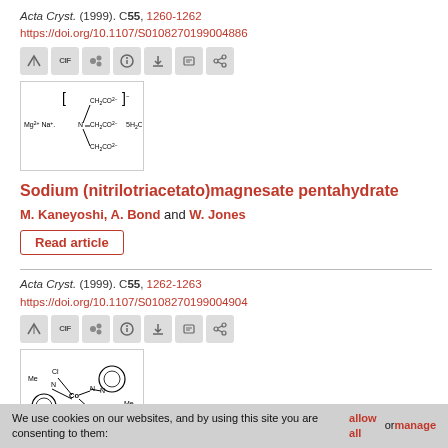Acta Cryst. (1999). C55, 1260-1262
https://doi.org/10.1107/S0108270199004886
[Figure (illustration): Toolbar with icons: arrow, CIF, molecule, info, download, cite, share]
[Figure (illustration): Chemical structure diagram of (nitrilotriacetato)magnesate with Mg2+ Na+ ions, N center with three CH2CO2- arms, and 5H2O]
Sodium (nitrilotriacetato)magnesate pentahydrate
M. Kaneyoshi, A. Bond and W. Jones
Read article
Acta Cryst. (1999). C55, 1262-1263
https://doi.org/10.1107/S0108270199004904
[Figure (illustration): Toolbar with icons: arrow, CIF, molecule, info, download, cite, share]
[Figure (illustration): Chemical structure diagram showing a cobalt complex with two N-methyl imidazole ligands and two chloride ligands, with benzimidazole-type rings]
We use cookies on our websites, and by using this site you are consenting to them: allow all or manage